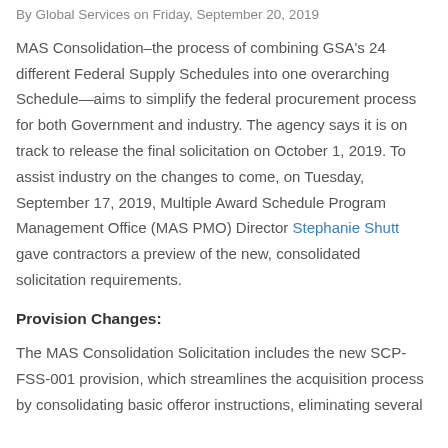By Global Services on Friday, September 20, 2019
MAS Consolidation–the process of combining GSA's 24 different Federal Supply Schedules into one overarching Schedule—aims to simplify the federal procurement process for both Government and industry. The agency says it is on track to release the final solicitation on October 1, 2019. To assist industry on the changes to come, on Tuesday, September 17, 2019, Multiple Award Schedule Program Management Office (MAS PMO) Director Stephanie Shutt gave contractors a preview of the new, consolidated solicitation requirements.
Provision Changes:
The MAS Consolidation Solicitation includes the new SCP-FSS-001 provision, which streamlines the acquisition process by consolidating basic offeror instructions, eliminating several